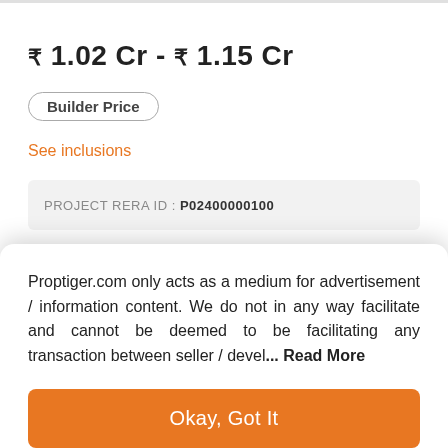₹ 1.02 Cr - ₹ 1.15 Cr
Builder Price
See inclusions
PROJECT RERA ID : P02400000100
2, 3 BHK
Apartment
1,249 - 1,770 sq ft
Builtup area
Proptiger.com only acts as a medium for advertisement / information content. We do not in any way facilitate and cannot be deemed to be facilitating any transaction between seller / devel... Read More
Okay, Got It